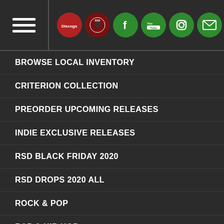Navigation menu header with hamburger icon and social media icons
BROWSE LOCAL INVENTORY
CRITERION COLLECTION
PREORDER UPCOMING RELEASES
INDIE EXCLUSIVE RELEASES
RSD BLACK FRIDAY 2020
RSD DROPS 2020 ALL
ROCK & POP
RAP & HIP-HOP
R&B / SOUL
WORLD MUSIC